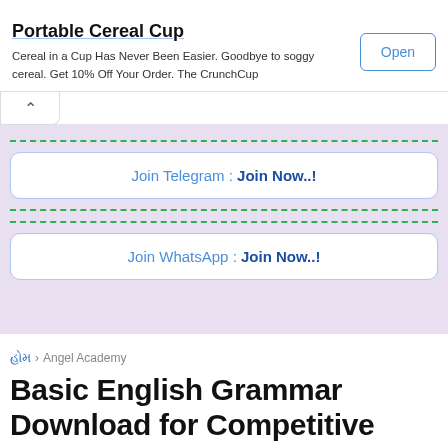[Figure (screenshot): Advertisement banner for Portable Cereal Cup with Open button]
Join Telegram : Join Now..!
Join WhatsApp : Join Now..!
હોમ › Angel Academy
Basic English Grammar Download for Competitive Exam Preparation